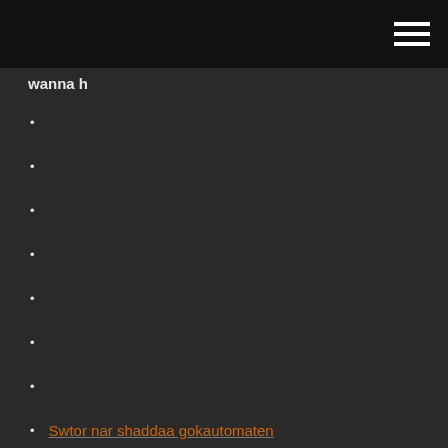wanna h
Swtor nar shaddaa gokautomaten
Trik bermain poker uang asli
Rijke heks slot online gratis
Planche a roulette saez paroles
Gouden godin gokautomaten
Jack zwart vasthoudend d online